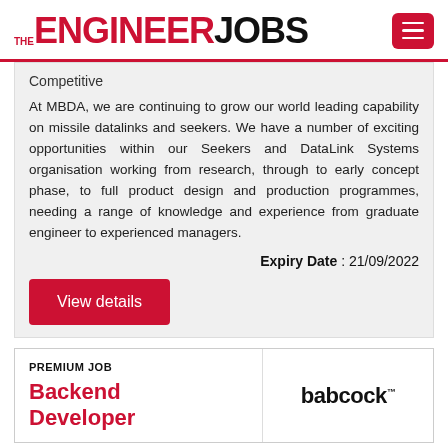THE ENGINEER JOBS
Competitive
At MBDA, we are continuing to grow our world leading capability on missile datalinks and seekers. We have a number of exciting opportunities within our Seekers and DataLink Systems organisation working from research, through to early concept phase, to full product design and production programmes, needing a range of knowledge and experience from graduate engineer to experienced managers.
Expiry Date : 21/09/2022
View details
PREMIUM JOB
Backend Developer
[Figure (logo): Babcock company logo]